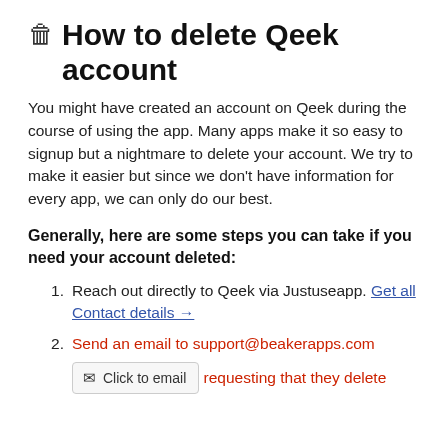🗑 How to delete Qeek account
You might have created an account on Qeek during the course of using the app. Many apps make it so easy to signup but a nightmare to delete your account. We try to make it easier but since we don't have information for every app, we can only do our best.
Generally, here are some steps you can take if you need your account deleted:
Reach out directly to Qeek via Justuseapp. Get all Contact details →
Send an email to support@beakerapps.com [Click to email] requesting that they delete